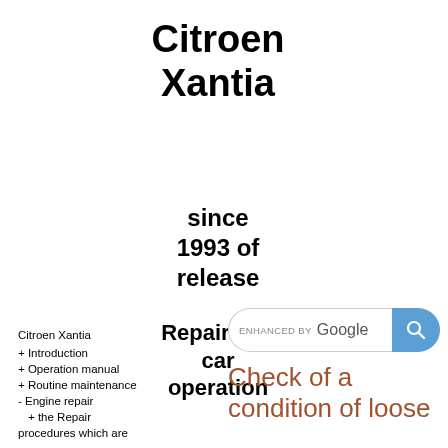Citroen Xantia
since 1993 of release
Repair and car operation
[Figure (other): Google search bar with search button]
Citroen Xantia
+ Introduction
+ Operation manual
+ Routine maintenance
- Engine repair
+ the Repair procedures which are
Check of a condition of loose